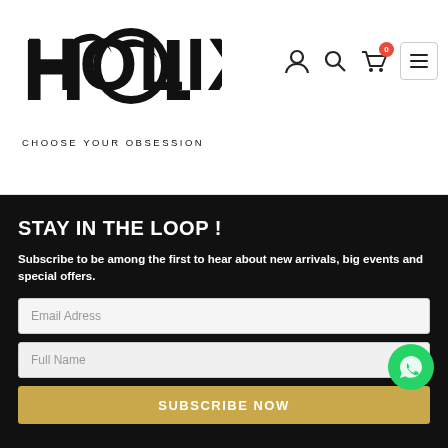[Figure (logo): HOLIX logo with stylized text and circular element, tagline CHOOSE YOUR OBSESSION]
[Figure (screenshot): Header navigation icons: user profile, search, cart with badge 0, hamburger menu button]
STAY IN THE LOOP !
Subscribe to be among the first to hear about new arrivals, big events and special offers.
Email Adress
Full Name
SUBSCRIBE NOW